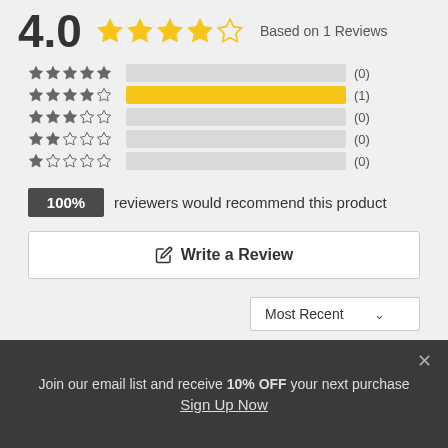4.0 ★★★★☆ Based on 1 Reviews
[Figure (bar-chart): Rating distribution]
100% reviewers would recommend this product
✏ Write a Review
Most Recent
Join our email list and receive 10% OFF your next purchase
Sign Up Now